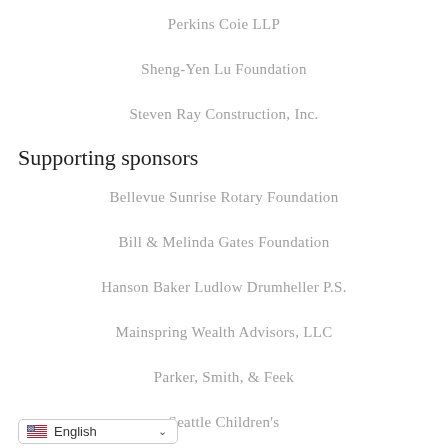Perkins Coie LLP
Sheng-Yen Lu Foundation
Steven Ray Construction, Inc.
Supporting sponsors
Bellevue Sunrise Rotary Foundation
Bill & Melinda Gates Foundation
Hanson Baker Ludlow Drumheller P.S.
Mainspring Wealth Advisors, LLC
Parker, Smith, & Feek
Seattle Children's
English